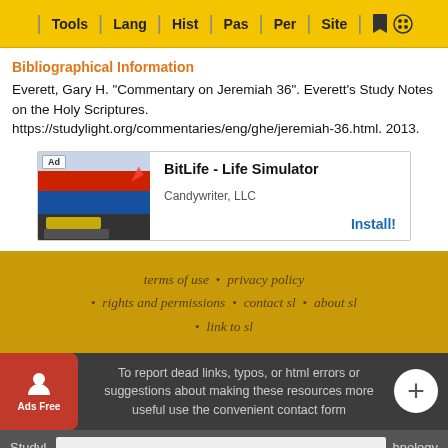Tools | Lang | Hist | Pas | Per | Site
Bibliographical Information
Everett, Gary H. "Commentary on Jeremiah 36". Everett's Study Notes on the Holy Scriptures. https://studylight.org/commentaries/eng/ghe/jeremiah-36.html. 2013.
[Figure (screenshot): Advertisement banner for BitLife - Life Simulator by Candywriter, LLC with Install button]
terms of use  •  privacy policy  •  rights and permissions  •  contact sl  •  about sl  •  link to sl
To report dead links, typos, or html errors or suggestions about making these resources more useful use the convenient contact form
StudyL... hnology